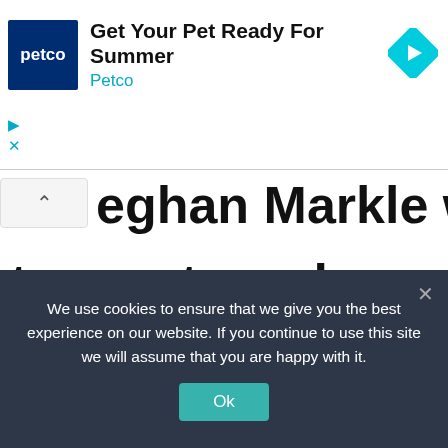[Figure (screenshot): Petco advertisement banner with Petco logo (white text on dark blue background), text 'Get Your Pet Ready For Summer' and 'Petco' in cyan, and a cyan diamond-shaped arrow icon on the right. Play and close (X) controls at bottom left.]
eghan Markle wants to create woke royal family with Prince Harry
August 17, 2022 by admin67
We use cookies to ensure that we give you the best experience on our website. If you continue to use this site we will assume that you are happy with it.